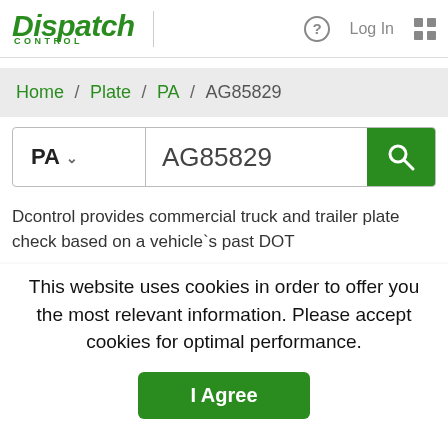[Figure (logo): Dispatch Control logo in green italic bold text with CONTROL in small caps below]
? | Log In | grid-icon
Home / Plate / PA / AG85829
PA ∨  AG85829  [search button]
Dcontrol provides commercial truck and trailer plate check based on a vehicle`s past DOT
This website uses cookies in order to offer you the most relevant information. Please accept cookies for optimal performance.
I Agree